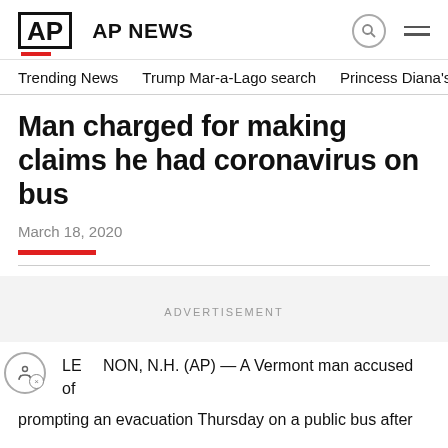AP AP NEWS
Trending News  Trump Mar-a-Lago search  Princess Diana's dea
Man charged for making claims he had coronavirus on bus
March 18, 2020
ADVERTISEMENT
LEBANON, N.H. (AP) — A Vermont man accused of prompting an evacuation Thursday on a public bus after